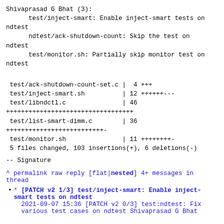Shivaprasad G Bhat (3):
      test/inject-smart: Enable inject-smart tests on ndtest
      ndtest/ack-shutdown-count: Skip the test on ndtest
      test/monitor.sh: Partially skip monitor test on ndtest
test/ack-shutdown-count-set.c |  4 +++
 test/inject-smart.sh          | 12 ++++++---
 test/libndctl.c               | 46
++++++++++++++++++++++++++++++++++
 test/list-smart-dimm.c        | 36
+++++++++++++++++++++++++-
 test/monitor.sh               | 11 ++++++++-
 5 files changed, 103 insertions(+), 6 deletions(-)
--
Signature
^ permalink raw reply   [flat|nested] 4+ messages in thread
* [PATCH v2 1/3] test/inject-smart: Enable inject-smart tests on ndtest
  2021-09-07 15:36 [PATCH v2 0/3] test:ndtest: Fix various test cases on ndtest Shivaprasad G Bhat